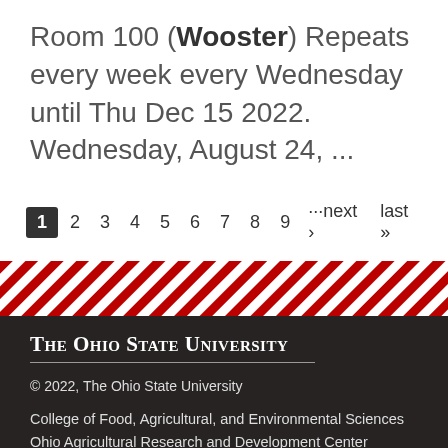Room 100 (Wooster) Repeats every week every Wednesday until Thu Dec 15 2022. Wednesday, August 24, ...
1 2 3 4 5 6 7 8 9 ···next › last »
[Figure (other): Diagonal red and white striped divider banner]
The Ohio State University
© 2022, The Ohio State University
College of Food, Agricultural, and Environmental Sciences
Ohio Agricultural Research and Development Center